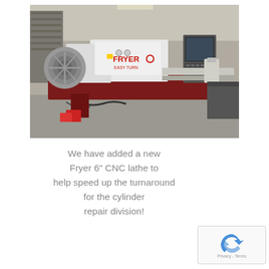[Figure (photo): A Fryer Easy Turn CNC lathe machine in an industrial warehouse setting. The machine is white and dark red/maroon colored with a large chuck on the left side, control panel on the right, and the 'FRYER EASY TURN' branding visible in the center.]
We have added a new Fryer 6" CNC lathe to help speed up the turnaround for the cylinder repair division!